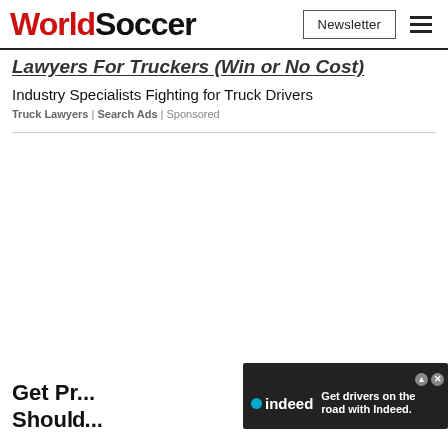WorldSoccer | Newsletter
Lawyers For Truckers (Win or No Cost)
Industry Specialists Fighting for Truck Drivers
Truck Lawyers | Search Ads | Sponsored
[Figure (screenshot): Blank white advertisement space]
Get Pr... Should...
[Figure (screenshot): Indeed advertisement: Get drivers on the road with Indeed.]